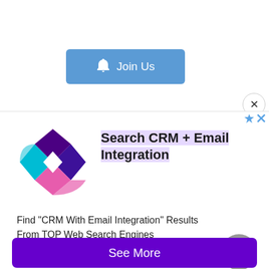[Figure (screenshot): Join Us button with bell icon on blue background]
×
[Figure (logo): Colorful diamond/checker pattern logo with purple, pink, cyan and white segments]
Search CRM + Email Integration
Find "CRM With Email Integration" Results From TOP Web Search Engines
CRM + Email Integration
[Figure (other): Gray circle with up arrow (scroll to top button)]
See More